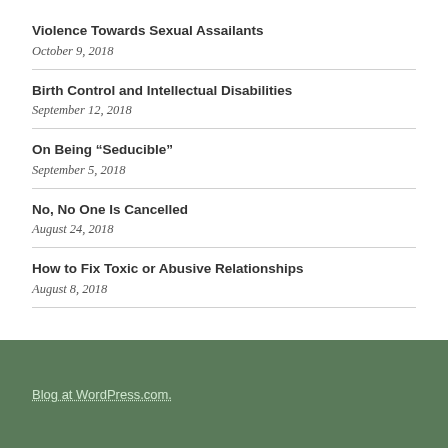Violence Towards Sexual Assailants
October 9, 2018
Birth Control and Intellectual Disabilities
September 12, 2018
On Being “Seducible”
September 5, 2018
No, No One Is Cancelled
August 24, 2018
How to Fix Toxic or Abusive Relationships
August 8, 2018
Blog at WordPress.com.